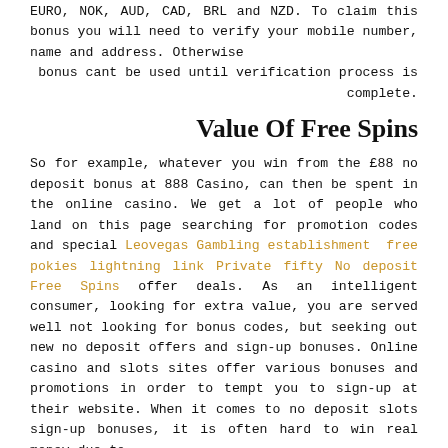EURO, NOK, AUD, CAD, BRL and NZD. To claim this bonus you will need to verify your mobile number, name and address. Otherwise bonus cant be used until verification process is complete.
Value Of Free Spins
So for example, whatever you win from the £88 no deposit bonus at 888 Casino, can then be spent in the online casino. We get a lot of people who land on this page searching for promotion codes and special Leovegas Gambling establishment  free pokies lightning link Private fifty No deposit Free Spins offer deals. As an intelligent consumer, looking for extra value, you are served well not looking for bonus codes, but seeking out new no deposit offers and sign-up bonuses. Online casino and slots sites offer various bonuses and promotions in order to tempt you to sign-up at their website. When it comes to no deposit slots sign-up bonuses, it is often hard to win real money due to various wagering requirements.
In order to get the absolute maximum possible benefit from your casino bonus, you should sign up via the relevant 'Play Now' link in the list above. Once you have registered, you will be able to make a